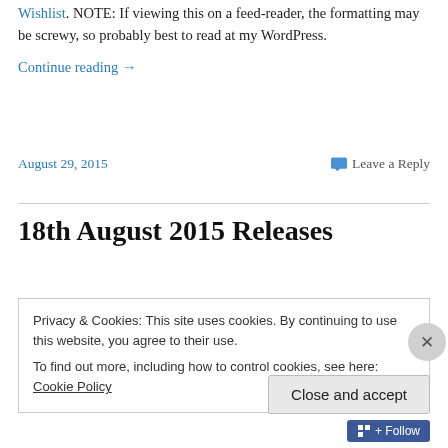Wishlist. NOTE: If viewing this on a feed-reader, the formatting may be screwy, so probably best to read at my WordPress.
Continue reading →
August 29, 2015
Leave a Reply
18th August 2015 Releases
Privacy & Cookies: This site uses cookies. By continuing to use this website, you agree to their use.
To find out more, including how to control cookies, see here: Cookie Policy